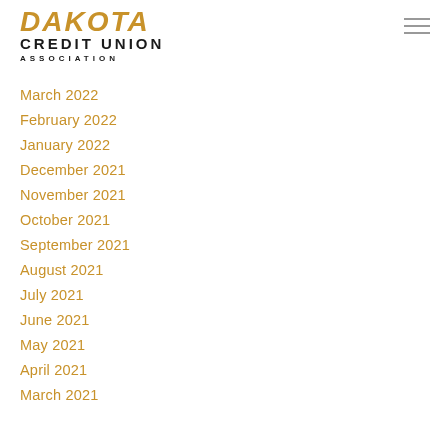[Figure (logo): Dakota Credit Union Association logo with italic gold DAKOTA text and bold black CREDIT UNION ASSOCIATION text]
March 2022
February 2022
January 2022
December 2021
November 2021
October 2021
September 2021
August 2021
July 2021
June 2021
May 2021
April 2021
March 2021